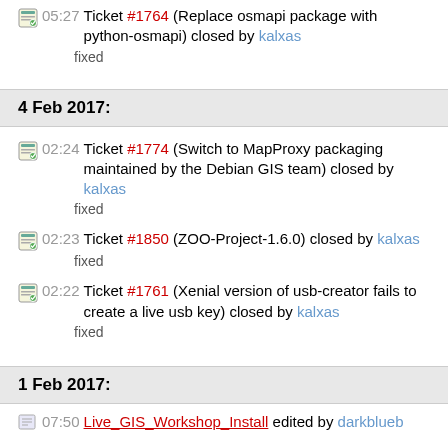05:27 Ticket #1764 (Replace osmapi package with python-osmapi) closed by kalxas
fixed
4 Feb 2017:
02:24 Ticket #1774 (Switch to MapProxy packaging maintained by the Debian GIS team) closed by kalxas
fixed
02:23 Ticket #1850 (ZOO-Project-1.6.0) closed by kalxas
fixed
02:22 Ticket #1761 (Xenial version of usb-creator fails to create a live usb key) closed by kalxas
fixed
1 Feb 2017:
07:50 Live_GIS_Workshop_Install edited by darkblueb